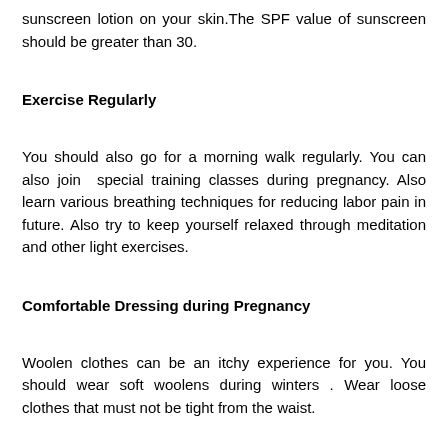sunscreen lotion on your skin.The SPF value of sunscreen should be greater than 30.
Exercise Regularly
You should also go for a morning walk regularly. You can also join special training classes during pregnancy. Also learn various breathing techniques for reducing labor pain in future. Also try to keep yourself relaxed through meditation and other light exercises.
Comfortable Dressing during Pregnancy
Woolen clothes can be an itchy experience for you. You should wear soft woolens during winters . Wear loose clothes that must not be tight from the waist.